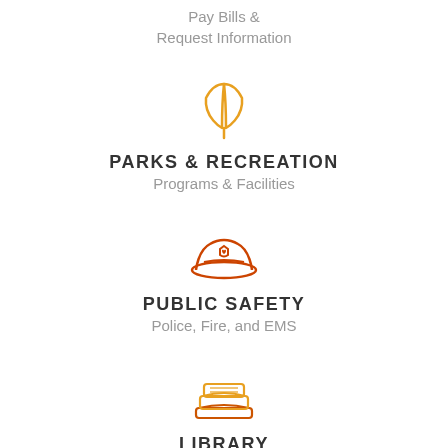Pay Bills & Request Information
[Figure (illustration): Orange/gold outline icon of a plant with two leaves]
PARKS & RECREATION
Programs & Facilities
[Figure (illustration): Orange/red outline icon of a police/official cap with a shield badge]
PUBLIC SAFETY
Police, Fire, and EMS
[Figure (illustration): Orange/gold outline icon of stacked books]
LIBRARY
Programs & Events